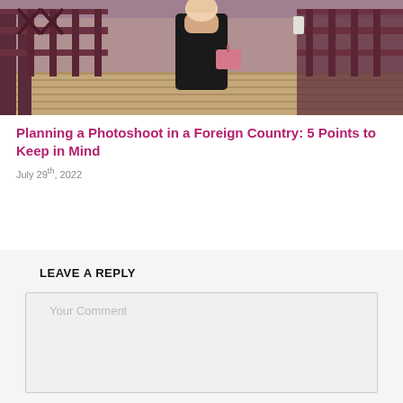[Figure (photo): Woman in black dress holding a pink handbag, standing on a bridge walkway with ornate dark metal railings and wooden planks]
Planning a Photoshoot in a Foreign Country: 5 Points to Keep in Mind
July 29th, 2022
LEAVE A REPLY
Your Comment